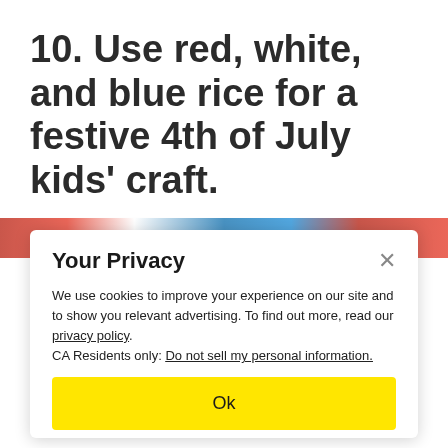10. Use red, white, and blue rice for a festive 4th of July kids' craft.
[Figure (photo): Colorful image strip showing red, white, and blue rice craft materials]
Your Privacy
We use cookies to improve your experience on our site and to show you relevant advertising. To find out more, read our privacy policy.
CA Residents only: Do not sell my personal information.
Ok